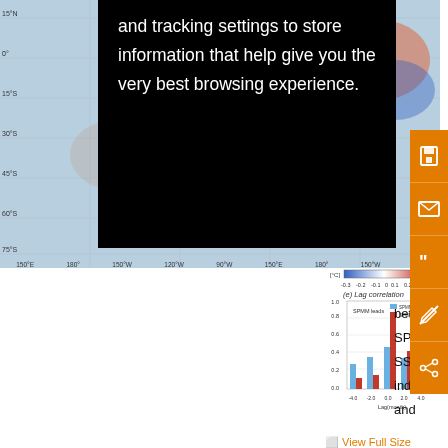and tracking settings to store information that help give you the very best browsing experience.
[Figure (map): Map showing geographic region with latitude/longitude axes, color-coded SST or SLP anomaly pattern. Latitude labels on left: 15N, 0, 15S, 30S, 45S, 60S, 75S. Longitude labels on bottom: 150E, 180, 150W, 120W, 90W, 150E, 180, 150W, 120.]
[Figure (bar-chart): (e) Lag correlation]
⛶  View Full Size
bet
SPI
SST
ind
and